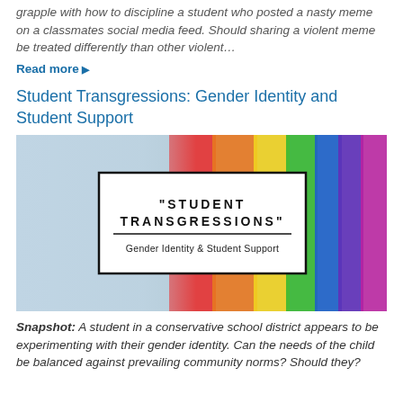grapple with how to discipline a student who posted a nasty meme on a classmates social media feed. Should sharing a violent meme be treated differently than other violent…
Read more ▶
Student Transgressions: Gender Identity and Student Support
[Figure (illustration): Rainbow pride flag in background with an overlaid white card reading 'STUDENT TRANSGRESSIONS' and subtitle 'Gender Identity & Student Support']
Snapshot: A student in a conservative school district appears to be experimenting with their gender identity. Can the needs of the child be balanced against prevailing community norms? Should they?